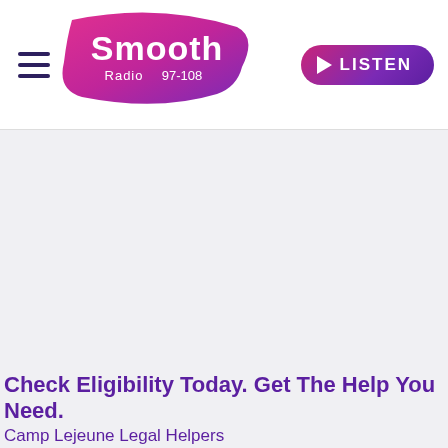Smooth Radio 97-108 | LISTEN
[Figure (logo): Smooth Radio 97-108 logo — pink-to-purple gradient banner shape with 'Smooth Radio 97-108' text in white]
Check Eligibility Today. Get The Help You Need.
Camp Lejeune Legal Helpers